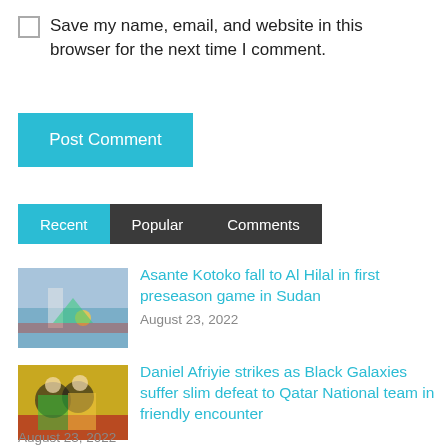Save my name, email, and website in this browser for the next time I comment.
Post Comment
Recent | Popular | Comments
[Figure (photo): Football match with players near a goal post]
Asante Kotoko fall to Al Hilal in first preseason game in Sudan
August 23, 2022
[Figure (photo): Football players in yellow and black jerseys celebrating]
Daniel Afriyie strikes as Black Galaxies suffer slim defeat to Qatar National team in friendly encounter
August 23, 2022